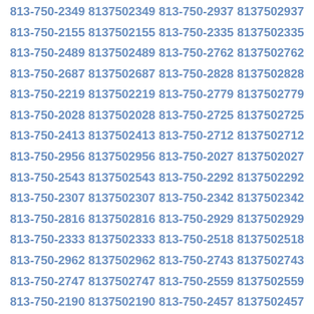813-750-2349 8137502349 813-750-2937 8137502937
813-750-2155 8137502155 813-750-2335 8137502335
813-750-2489 8137502489 813-750-2762 8137502762
813-750-2687 8137502687 813-750-2828 8137502828
813-750-2219 8137502219 813-750-2779 8137502779
813-750-2028 8137502028 813-750-2725 8137502725
813-750-2413 8137502413 813-750-2712 8137502712
813-750-2956 8137502956 813-750-2027 8137502027
813-750-2543 8137502543 813-750-2292 8137502292
813-750-2307 8137502307 813-750-2342 8137502342
813-750-2816 8137502816 813-750-2929 8137502929
813-750-2333 8137502333 813-750-2518 8137502518
813-750-2962 8137502962 813-750-2743 8137502743
813-750-2747 8137502747 813-750-2559 8137502559
813-750-2190 8137502190 813-750-2457 8137502457
813-750-2249 8137502249 813-750-2279 8137502279
813-750-2562 8137502562 813-750-2133 8137502133
813-750-2722 8137502722 813-750-2099 8137502099
813-750-2536 8137502536 813-750-2560 8137502560
813-750-2355 8137502355 813-750-2473 8137502473
813-750-2620 8137502620 813-750-2866 8137502866
813-750-2748 8137502748 813-750-2340 8137502340
813-750-2358 8137502358 813-750-2308 8137502308
813-750-2004 8137502004 813-750-2918 8137502918
813-750-2174 8137502174 813-750-2238 8137502238